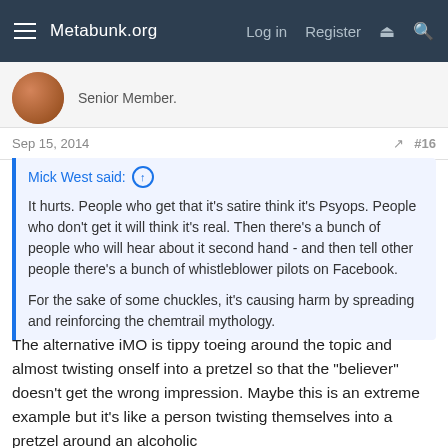Metabunk.org  Log in  Register
Senior Member.
Sep 15, 2014  #16
Mick West said: ↑

It hurts. People who get that it's satire think it's Psyops. People who don't get it will think it's real. Then there's a bunch of people who will hear about it second hand - and then tell other people there's a bunch of whistleblower pilots on Facebook.

For the sake of some chuckles, it's causing harm by spreading and reinforcing the chemtrail mythology.
The alternative iMO is tippy toeing around the topic and almost twisting onself into a pretzel so that the "believer" doesn't get the wrong impression. Maybe this is an extreme example but it's like a person twisting themselves into a pretzel around an alcoholic